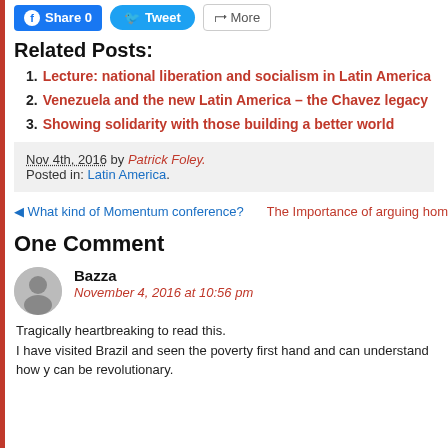Related Posts:
1. Lecture: national liberation and socialism in Latin America
2. Venezuela and the new Latin America – the Chavez legacy
3. Showing solidarity with those building a better world
Nov 4th, 2016 by Patrick Foley. Posted in: Latin America.
◄ What kind of Momentum conference?   The Importance of arguing hom
One Comment
Bazza
November 4, 2016 at 10:56 pm
Tragically heartbreaking to read this.
I have visited Brazil and seen the poverty first hand and can understand how y can be revolutionary.